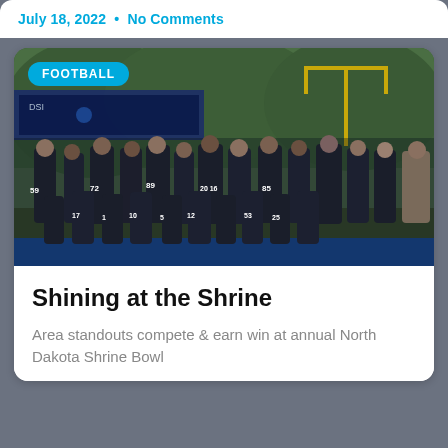July 18, 2022  •  No Comments
[Figure (photo): Football team photo — a large group of players in dark uniforms posing on a blue track at a football field with trees and goalpost in background. A blue 'FOOTBALL' badge overlays the top-left of the image.]
Shining at the Shrine
Area standouts compete & earn win at annual North Dakota Shrine Bowl